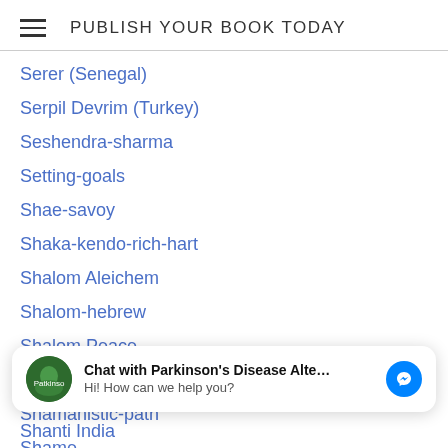PUBLISH YOUR BOOK TODAY
Serer (Senegal)
Serpil Devrim (Turkey)
Seshendra-sharma
Setting-goals
Shae-savoy
Shaka-kendo-rich-hart
Shalom Aleichem
Shalom-hebrew
Shalom Peace
Shaman
Shamanistic-path
Shame
Shankar Vedantam
[Figure (screenshot): Chat widget: avatar of Parkinson's Disease Alte... with messenger icon. Text: 'Chat with Parkinson’s Disease Alte...' and 'Hi! How can we help you?']
Shanti India